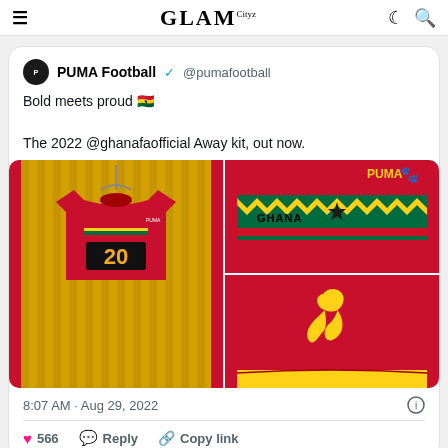GLAM Cityz
PUMA Football @pumafootball
Bold meets proud 🇬🇭

The 2022 @ghanafaofficial Away kit, out now.
[Figure (photo): Three-panel photo collage of Ghana 2022 Away kit by Puma. Left: red shirt with number 20 hanging on wall with yellow slat background. Top right: close-up of collar area showing GHANA text, yellow/green/red pattern, black star, and PUMA logo. Bottom right: close-up of Puma cat logo on red shirt sleeve.]
8:07 AM · Aug 29, 2022
566  Reply  Copy link